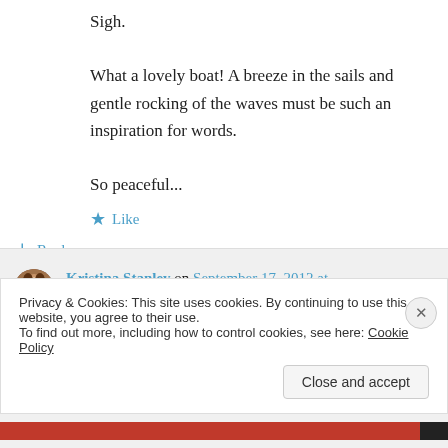Sigh.
What a lovely boat! A breeze in the sails and gentle rocking of the waves must be such an inspiration for words.
So peaceful...
★ Like
↳ Reply
Kristina Stanley on September 17, 2012 at 3:27 pm
Privacy & Cookies: This site uses cookies. By continuing to use this website, you agree to their use. To find out more, including how to control cookies, see here: Cookie Policy
Close and accept